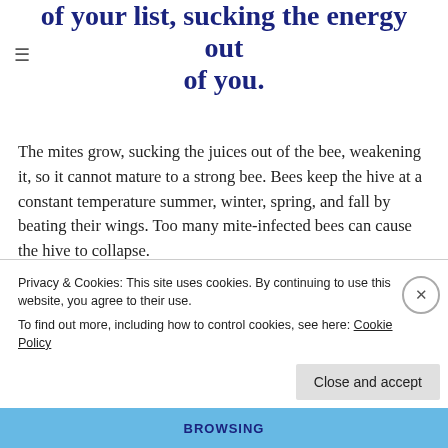of your list, sucking the energy out of you.
The mites grow, sucking the juices out of the bee, weakening it, so it cannot mature to a strong bee. Bees keep the hive at a constant temperature summer, winter, spring, and fall by beating their wings. Too many mite-infected bees can cause the hive to collapse.
Believe it or not, lawns are a big problem, too.
% f th   ti   l   d
Privacy & Cookies: This site uses cookies. By continuing to use this website, you agree to their use.
To find out more, including how to control cookies, see here: Cookie Policy
Close and accept